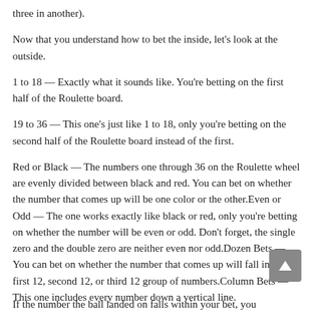three in another).
Now that you understand how to bet the inside, let's look at the outside.
1 to 18 — Exactly what it sounds like. You're betting on the first half of the Roulette board.
19 to 36 — This one's just like 1 to 18, only you're betting on the second half of the Roulette board instead of the first.
Red or Black — The numbers one through 36 on the Roulette wheel are evenly divided between black and red. You can bet on whether the number that comes up will be one color or the other.Even or Odd — The one works exactly like black or red, only you're betting on whether the number will be even or odd. Don't forget, the single zero and the double zero are neither even nor odd.Dozen Bets — You can bet on whether the number that comes up will fall in the first 12, second 12, or third 12 group of numbers.Column Bets — This one includes every number down a vertical line.
If the number the ball landed on falls within your bet, you